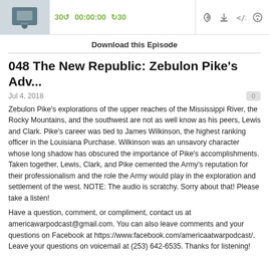[Figure (screenshot): Podcast player bar with thumbnail image, playback controls showing 30 back, 00:00:00, forward 30, and icons for RSS, download, embed, and notifications]
Download this Episode
048 The New Republic: Zebulon Pike's Adv...
Jul 4, 2018
Zebulon Pike's explorations of the upper reaches of the Mississippi River, the Rocky Mountains, and the southwest are not as well know as his peers, Lewis and Clark. Pike's career was tied to James Wilkinson, the highest ranking officer in the Louisiana Purchase. Wilkinson was an unsavory character whose long shadow has obscured the importance of Pike's accomplishments. Taken together, Lewis, Clark, and Pike cemented the Army's reputation for their professionalism and the role the Army would play in the exploration and settlement of the west. NOTE: The audio is scratchy. Sorry about that! Please take a listen!
Have a question, comment, or compliment, contact us at americawarpodcast@gmail.com. You can also leave comments and your questions on Facebook at https://www.facebook.com/americaatwarpodcast/. Leave your questions on voicemail at (253) 642-6535. Thanks for listening!